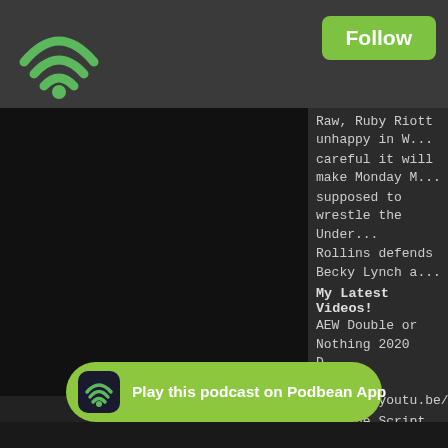[Figure (screenshot): Top navigation bar with green WiFi/Podbean icon on left and green Follow button on right, on dark grey background]
[Figure (photo): Black video player panel on the left side]
Raw, Ruby Riott unhappy in W... careful it will make Monday M... supposed to wrestle the Under... Rollins defends Becky Lynch a...
My Latest Videos!
AEW Double or Nothing 2020 D...
► https://youtu.be/qGDJ6PK0...
Off the Script 327
Part 1: ► https://youtu.be/oqgg...
Subscribe! 🔔NOTIFICATIONS🔔
► https://bit.ly/31q4eFa
Today's Video Is Sponsored By... a Harry's trial set! ► http://www....
Social Media:
Twitter ► http://twitter.com/JDF...
Instagram ► http://instagram.c...
Patreon ► http://patreon.com/j...
Mixer ► http://mixer.com/jdfro...
Twitch ► http://www.twitch.tv/j...
...is a weekly W... ...rstling, news, W...
[Figure (logo): Green Podbean app banner with Podbean icon and text 'Play this podcast on Podbean App']